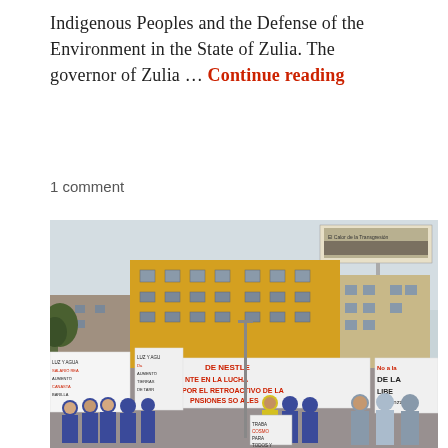Indigenous Peoples and the Defense of the Environment in the State of Zulia. The governor of Zulia … Continue reading
1 comment
[Figure (photo): Outdoor protest rally with workers holding banners and signs in Spanish. Visible text on banners includes 'DE NESTLE', 'NTE EN LA LUCHA', 'POR EL RETROACTIVO DE LA', 'PNSIONES SOCIALES', 'No a la', 'DE LA', 'LIBE', 'en Gonzalo'. Yellow commercial buildings visible in background with billboard on top. Large group of people mostly wearing blue shirts gathered in a street.]